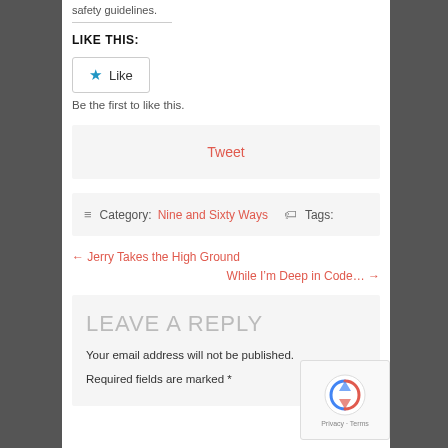safety guidelines.
LIKE THIS:
[Figure (other): Like button with star icon]
Be the first to like this.
Tweet
≡ Category: Nine and Sixty Ways  🏷 Tags:
← Jerry Takes the High Ground
While I'm Deep in Code… →
LEAVE A REPLY
Your email address will not be published.
Required fields are marked *